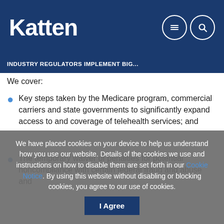Katten
INDUSTRY REGULATORS IMPLEMENT BIG...
We cover:
Key steps taken by the Medicare program, commercial carriers and state governments to significantly expand access to and coverage of telehealth services; and
The temporary waiver of penalties for potential noncompliance with certain federal fraud and abuse and
We have placed cookies on your device to help us understand how you use our website. Details of the cookies we use and instructions on how to disable them are set forth in our Cookie Notice. By using this website without disabling or blocking cookies, you agree to our use of cookies.